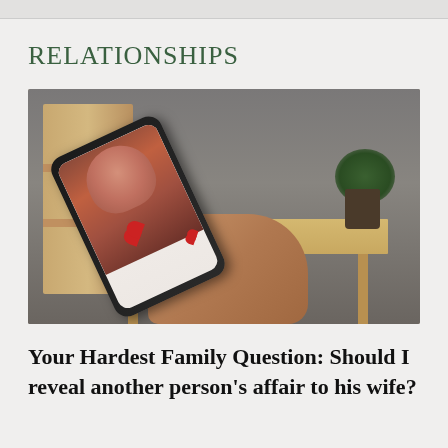RELATIONSHIPS
[Figure (photo): A person holding a smartphone showing a dating app with a woman's profile photo and heart icons, with a wooden shelf unit and plant in the background.]
Your Hardest Family Question: Should I reveal another person's affair to his wife?